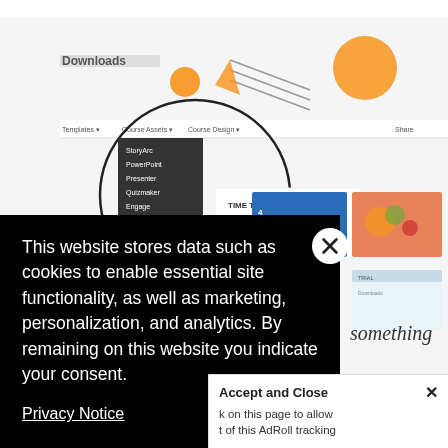[Figure (screenshot): Background screenshot of a website showing a 'Downloads' page with navigation menu items (StoryArc, PowerPoint, Presenter, Quizmaker, Engage, Replay), decorative orange arrow/rocket illustration, and content cards including 'TIME THEMED GIFS' and other course design resources. A circle highlights the dropdown menu.]
This website stores data such as cookies to enable essential site functionality, as well as marketing, personalization, and analytics. By remaining on this website you indicate your consent.
Privacy Notice
Accept and Close ✕
k on this page to allow t of this AdRoll tracking